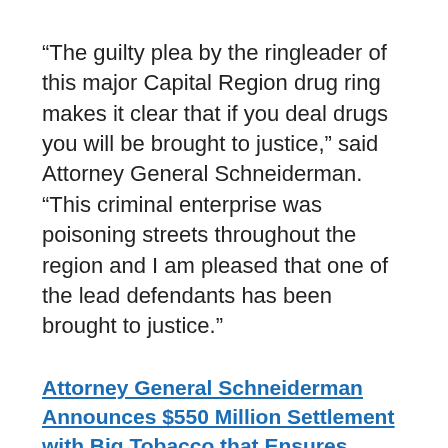“The guilty plea by the ringleader of this major Capital Region drug ring makes it clear that if you deal drugs you will be brought to justice,” said Attorney General Schneiderman. “This criminal enterprise was poisoning streets throughout the region and I am pleased that one of the lead defendants has been brought to justice.”
Attorney General Schneiderman Announces $550 Million Settlement with Big Tobacco that Ensures Billions in Future Compensation to New York State, Counties, and NYC Arising out of Landmark 1998 Agreement
Attorney General Eric T. Schneiderman...